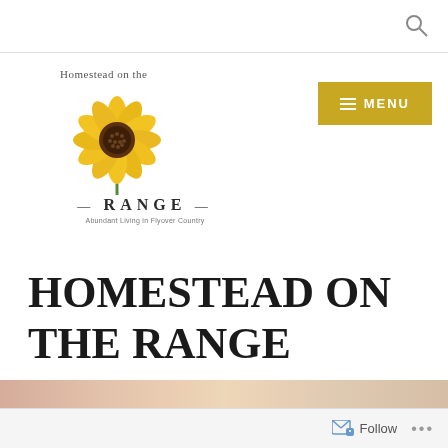[Figure (logo): Homestead on the Range logo with sunflower image and text 'RANGE — Abundant Living in Flyover Country']
HOMESTEAD ON THE RANGE
Tag: Recipes
[Figure (photo): Partial image strip at bottom of page showing warm toned food photography]
Follow ...